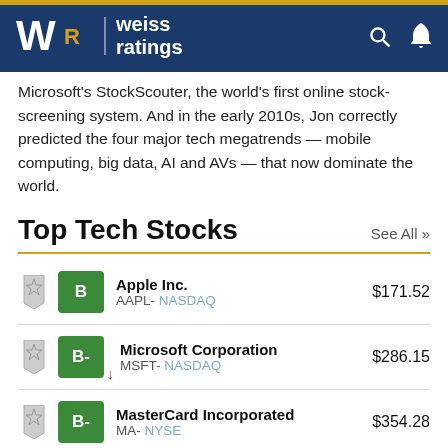Weiss Ratings
Microsoft's StockScouter, the world's first online stock-screening system. And in the early 2010s, Jon correctly predicted the four major tech megatrends — mobile computing, big data, AI and AVs — that now dominate the world.
Top Tech Stocks
| Rating | Company | Price |
| --- | --- | --- |
| B | Apple Inc. / AAPL- NASDAQ | $171.52 |
| B- | Microsoft Corporation / MSFT- NASDAQ | $286.15 |
| B- | MasterCard Incorporated / MA- NYSE | $354.28 |